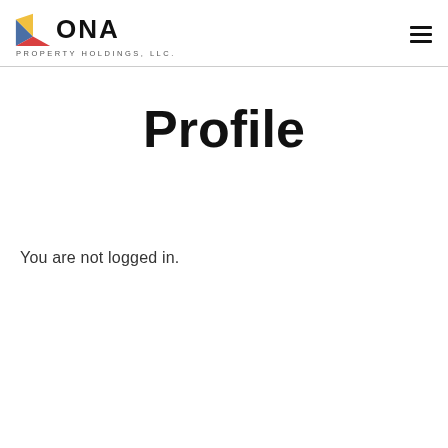[Figure (logo): ONA Property Holdings, LLC. logo with geometric triangle icon in blue, yellow, and red, and bold ONA text]
Profile
You are not logged in.